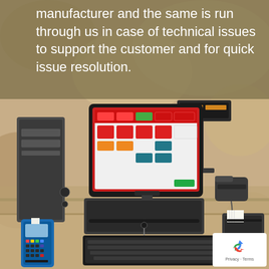manufacturer and the same is run through us in case of technical issues to support the customer and for quick issue resolution.
[Figure (photo): POS system setup showing a desktop computer tower, touchscreen monitor displaying POS software with red and teal interface, customer display pole unit, barcode scanner, cash drawer, keyboard, mouse, receipt printer, and payment terminal on a counter surface.]
[Figure (logo): Google reCAPTCHA badge with recycled arrows logo icon and Privacy - Terms text]